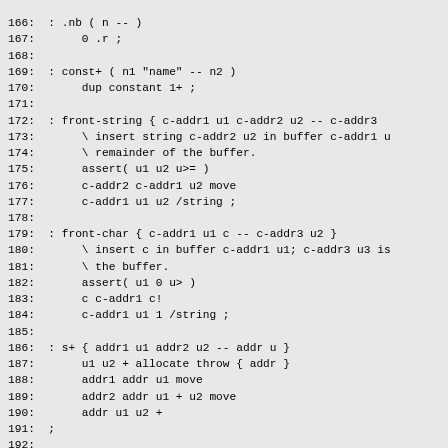166:  : .nb ( n -- )
167:       0 .r ;
168:
169:  : const+ ( n1 "name" -- n2 )
170:       dup constant 1+ ;
171:
172:  : front-string { c-addr1 u1 c-addr2 u2 -- c-addr3
173:       \ insert string c-addr2 u2 in buffer c-addr1 u
174:       \ remainder of the buffer.
175:       assert( u1 u2 u>= )
176:       c-addr2 c-addr1 u2 move
177:       c-addr1 u1 u2 /string ;
178:
179:  : front-char { c-addr1 u1 c -- c-addr3 u2 }
180:       \ insert c in buffer c-addr1 u1; c-addr3 u3 is
181:       \ the buffer.
182:       assert( u1 0 u> )
183:       c c-addr1 c!
184:       c-addr1 u1 1 /string ;
185:
186:  : s+ { addr1 u1 addr2 u2 -- addr u }
187:       u1 u2 + allocate throw { addr }
188:       addr1 addr u1 move
189:       addr2 addr u1 + u2 move
190:       addr u1 u2 +
191:  ;
192:
193:  : append { addr1 u1 addr2 u2 -- addr u }
194:       addr1 u1 u2 + dup { u } resize throw { addr }
195:       addr2 addr u1 + u2 move
196:       addr u ;